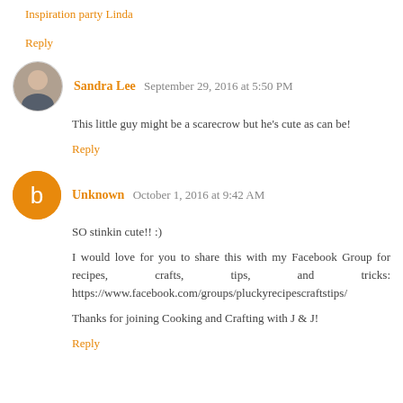Inspiration party Linda
Reply
Sandra Lee  September 29, 2016 at 5:50 PM
This little guy might be a scarecrow but he's cute as can be!
Reply
Unknown  October 1, 2016 at 9:42 AM
SO stinkin cute!! :)
I would love for you to share this with my Facebook Group for recipes, crafts, tips, and tricks: https://www.facebook.com/groups/pluckyrecipescraftstips/
Thanks for joining Cooking and Crafting with J & J!
Reply